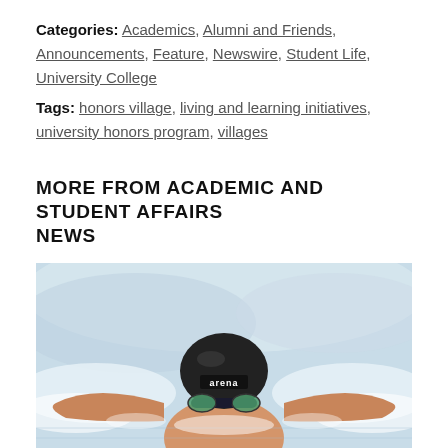Categories: Academics, Alumni and Friends, Announcements, Feature, Newswire, Student Life, University College
Tags: honors village, living and learning initiatives, university honors program, villages
MORE FROM ACADEMIC AND STUDENT AFFAIRS NEWS
[Figure (photo): A competitive swimmer wearing a black Arena swim cap and blue mirrored goggles, photographed from above during the butterfly stroke, arms spread wide, with water splashing around them.]